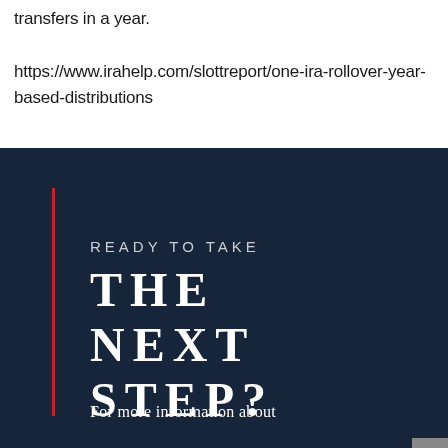transfers in a year.

https://www.irahelp.com/slottreport/one-ira-rollover-year-based-distributions
[Figure (infographic): Dark navy blue banner with red vertical line accent on left side. Text reads: READY TO TAKE THE NEXT STEP? For more information about]